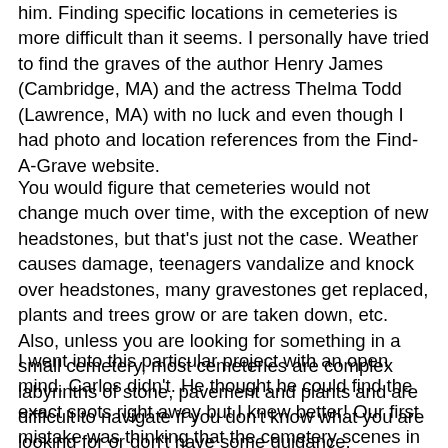him. Finding specific locations in cemeteries is more difficult than it seems. I personally have tried to find the graves of the author Henry James (Cambridge, MA) and the actress Thelma Todd (Lawrence, MA) with no luck and even though I had photo and location references from the Find-A-Grave website.
You would figure that cemeteries would not change much over time, with the exception of new headstones, but that's just not the case. Weather causes damage, teenagers vandalize and knock over headstones, many gravestones get replaced, plants and trees grow or are taken down, etc. Also, unless you are looking for something in a small cemetery, most cemeteries are complex labyrinths of stone, pavement and plants and are difficult to navigate if you don't know what you are looking for or don't have some guidance.
I went into this particular project with an open mind. Carlos didn't. He thought he could find the exact spots right away but I knew better! Our first mistake was thinking that the cemetery scenes in the film were shot at Mt. Auburn Cemetery. We went there and good thing Carlos asked someone at the visitor center because we were told the